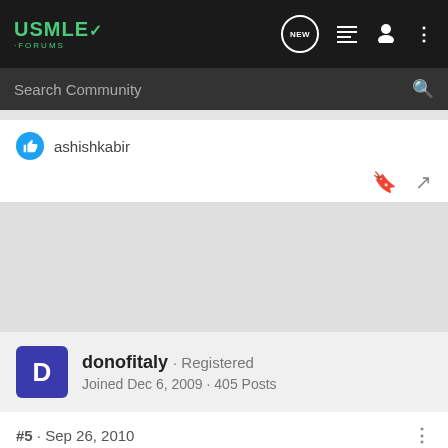USMLE FORUMS
Search Community
ashishkabir
donofitaly · Registered
Joined Dec 6, 2009 · 405 Posts
#5 · Sep 26, 2010
C- Lipop... necrosis
[Figure (infographic): Ad banner: Need 250+ GOLDUSMLE 2022 RAPID REVIEW OF USMLE STEP3]